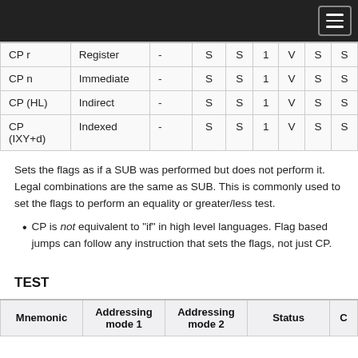| Mnemonic | Addressing mode 1 | Addressing mode 2 | Status | C | N | PV | H | Z | S |
| --- | --- | --- | --- | --- | --- | --- | --- | --- | --- |
| CP r | Register | - | S | S | 1 | V | S | S |  |
| CP n | Immediate | - | S | S | 1 | V | S | S |  |
| CP (HL) | Indirect | - | S | S | 1 | V | S | S |  |
| CP (IXY+d) | Indexed | - | S | S | 1 | V | S | S |  |
Sets the flags as if a SUB was performed but does not perform it. Legal combinations are the same as SUB. This is commonly used to set the flags to perform an equality or greater/less test.
CP is not equivalent to "if" in high level languages. Flag based jumps can follow any instruction that sets the flags, not just CP.
TEST
| Mnemonic | Addressing mode 1 | Addressing mode 2 | Status | C | N | PV | H | Z |
| --- | --- | --- | --- | --- | --- | --- | --- | --- |